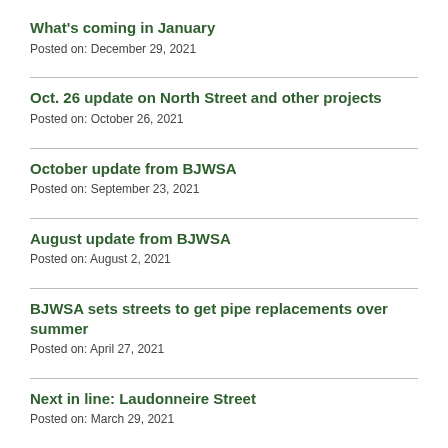What's coming in January
Posted on: December 29, 2021
Oct. 26 update on North Street and other projects
Posted on: October 26, 2021
October update from BJWSA
Posted on: September 23, 2021
August update from BJWSA
Posted on: August 2, 2021
BJWSA sets streets to get pipe replacements over summer
Posted on: April 27, 2021
Next in line: Laudonneire Street
Posted on: March 29, 2021
Water line project starts in Pigeon Point